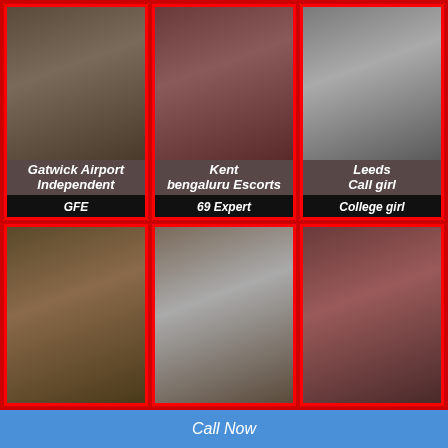[Figure (photo): Grid of 6 photos of women with labels for escort services]
Gatwick Airport Independent GFE
Kent bengaluru Escorts 69 Expert
Leeds Call girl College girl
Call Now
Whatsup